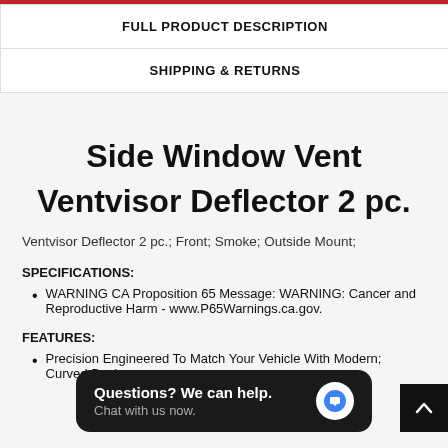FULL PRODUCT DESCRIPTION
SHIPPING & RETURNS
Side Window Vent Ventvisor Deflector 2 pc.
Ventvisor Deflector 2 pc.; Front; Smoke; Outside Mount;
SPECIFICATIONS:
WARNING CA Proposition 65 Message: WARNING: Cancer and Reproductive Harm - www.P65Warnings.ca.gov.
FEATURES:
Precision Engineered To Match Your Vehicle With Modern; Curved Design